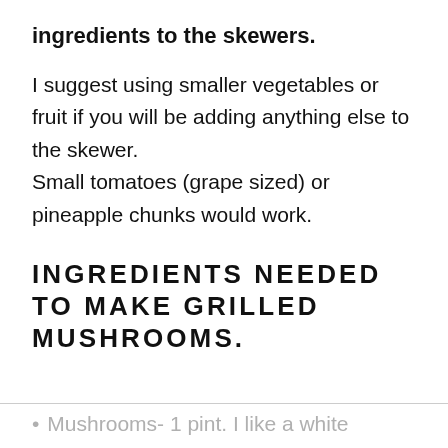ingredients to the skewers.
I suggest using smaller vegetables or fruit if you will be adding anything else to the skewer. Small tomatoes (grape sized) or pineapple chunks would work.
INGREDIENTS NEEDED TO MAKE GRILLED MUSHROOMS.
Mushrooms- 1 pint. I like a white